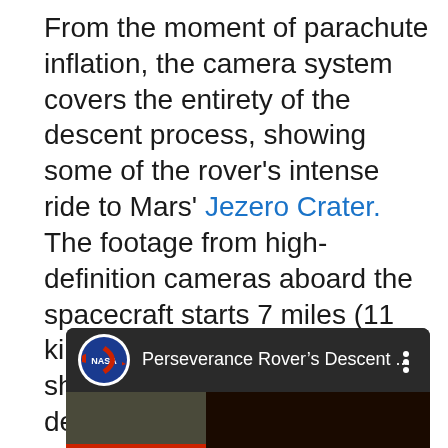From the moment of parachute inflation, the camera system covers the entirety of the descent process, showing some of the rover's intense ride to Mars' Jezero Crater. The footage from high-definition cameras aboard the spacecraft starts 7 miles (11 kilometers) above the surface, showing the supersonic deployment of the most massive parachute ever sent to another world, and ends with the rover's touchdown in the crater.
[Figure (screenshot): YouTube video thumbnail showing NASA Perseverance Rover's Descent video with NASA logo and partial title 'Perseverance Rover's Descent ...' and a three-dot menu icon]